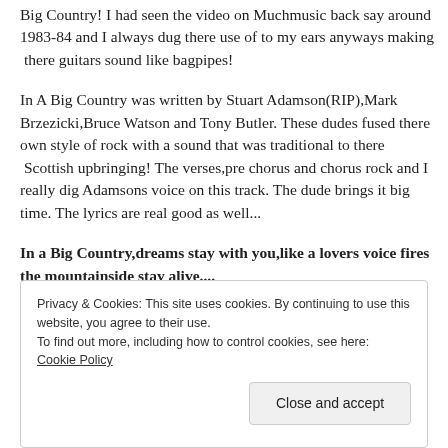Big Country! I had seen the video on Muchmusic back say around 1983-84 and I always dug there use of to my ears anyways making  there guitars sound like bagpipes!
In A Big Country was written by Stuart Adamson(RIP),Mark Brzezicki,Bruce Watson and Tony Butler. These dudes fused there own style of rock with a sound that was traditional to there  Scottish upbringing! The verses,pre chorus and chorus rock and I really dig Adamsons voice on this track. The dude brings it big time. The lyrics are real good as well...
In a Big Country,dreams stay with you,like a lovers voice fires the mountainside stay alive....
Privacy & Cookies: This site uses cookies. By continuing to use this website, you agree to their use.
To find out more, including how to control cookies, see here: Cookie Policy
Close and accept